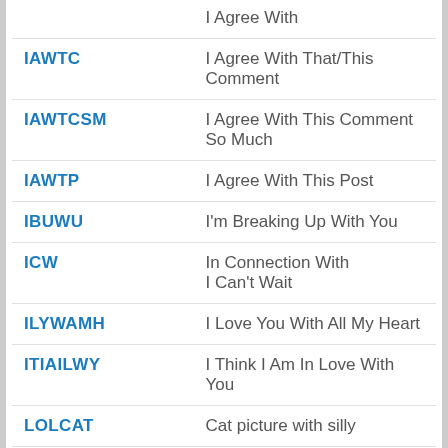| Abbreviation | Meaning |
| --- | --- |
|  | I Agree With |
| IAWTC | I Agree With That/This Comment |
| IAWTCSM | I Agree With This Comment So Much |
| IAWTP | I Agree With This Post |
| IBUWU | I'm Breaking Up With You |
| ICW | In Connection With
I Can't Wait |
| ILYWAMH | I Love You With All My Heart |
| ITIAILWY | I Think I Am In Love With You |
| LOLCAT | Cat picture with silly |